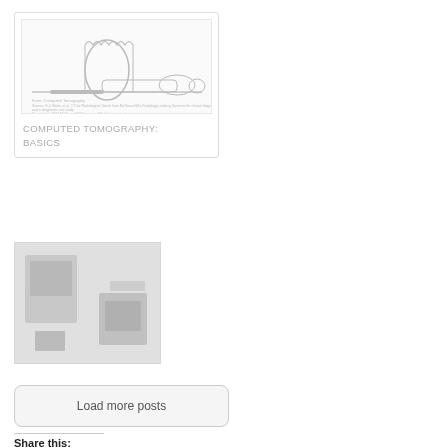[Figure (illustration): Card thumbnail showing a CT scan line illustration of a patient lying on a scanning table with the CT ring/gantry visible, along with small caption text below the image]
COMPUTED TOMOGRAPHY: BASICS
[Figure (photo): Greyscale thumbnail image placeholder, appears to be a blurred or low-resolution image used as a card/post thumbnail]
Load more posts
Share this: